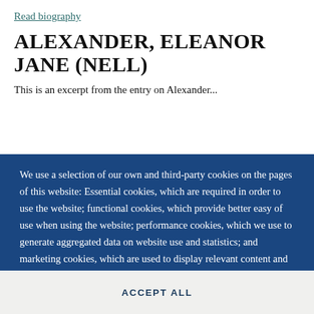Read biography
ALEXANDER, ELEANOR JANE (NELL)
This is an excerpt from the entry on Alexander...
We use a selection of our own and third-party cookies on the pages of this website: Essential cookies, which are required in order to use the website; functional cookies, which provide better easy of use when using the website; performance cookies, which we use to generate aggregated data on website use and statistics; and marketing cookies, which are used to display relevant content and advertising. If you choose "ACCEPT ALL", you consent to the use of all cookies. You can accept and
ACCEPT ALL